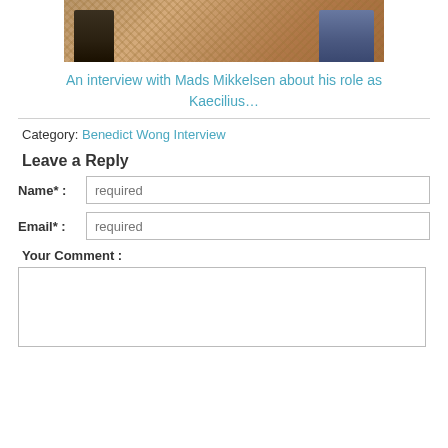[Figure (photo): A photo showing people sitting on a tan/beige woven carpet or rug floor, partially cropped showing legs and lower bodies.]
An interview with Mads Mikkelsen about his role as Kaecilius…
Category: Benedict Wong Interview
Leave a Reply
Name* : required
Email* : required
Your Comment :